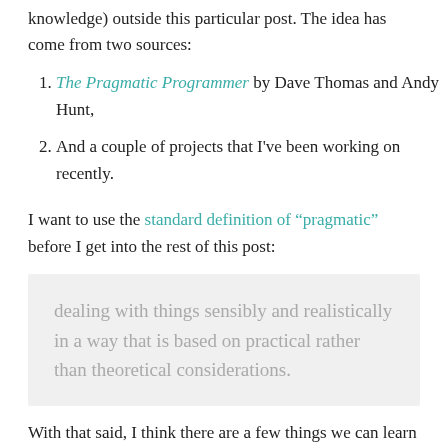knowledge) outside this particular post. The idea has come from two sources:
The Pragmatic Programmer by Dave Thomas and Andy Hunt,
And a couple of projects that I've been working on recently.
I want to use the standard definition of “pragmatic” before I get into the rest of this post:
dealing with things sensibly and realistically in a way that is based on practical rather than theoretical considerations.
With that said, I think there are a few things we can learn from this as it relates to applying pragmatic